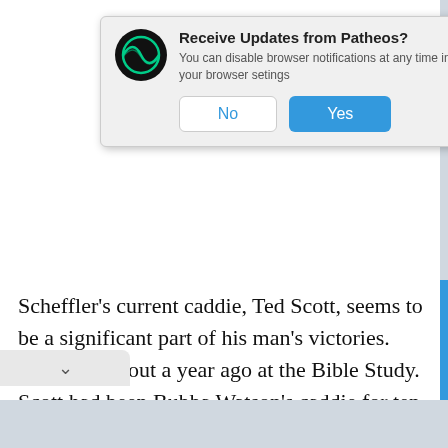[Figure (screenshot): Browser notification popup asking 'Receive Updates from Patheos?' with Patheos logo, subtitle text, and No/Yes buttons]
Scheffler's current caddie, Ted Scott, seems to be a significant part of his man's victories. They met about a year ago at the Bible Study. Scott had been Bubba Watson's caddie for ten years, which Bubba won the Masters in 2012 and 2014. Bubba and Ted had a parting of the ways last year. Bubba is also a regular
nber of the PGA Tour Bible Study